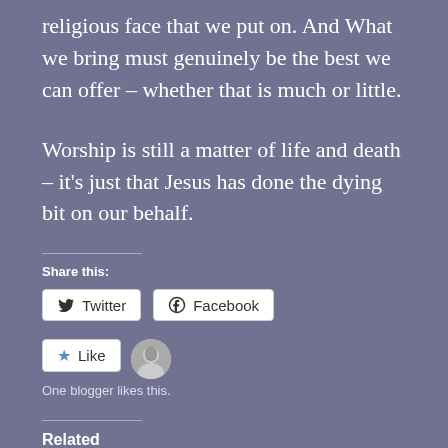religious face that we put on. And What we bring must genuinely be the best we can offer – whether that is much or little.
Worship is still a matter of life and death – it's just that Jesus has done the dying bit on our behalf.
Share this:
[Figure (screenshot): Twitter and Facebook share buttons]
[Figure (screenshot): Like button with star icon and blogger avatar. One blogger likes this.]
One blogger likes this.
Related